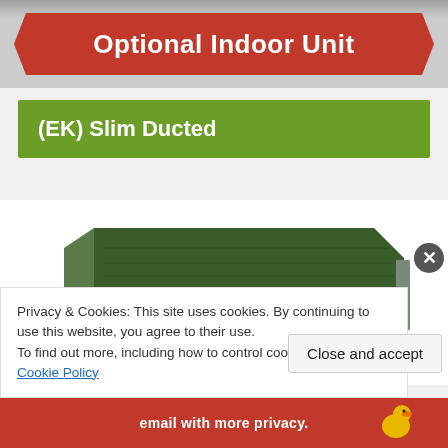Optional Indoor Unit
(EK) Slim Ducted
[Figure (photo): Slim ducted indoor air conditioning unit, shown from an angle — low-profile metal housing with green top panel and exposed front intake/coil section]
Privacy & Cookies: This site uses cookies. By continuing to use this website, you agree to their use.
To find out more, including how to control cookies, see here: Cookie Policy
Close and accept
email with more privacy.